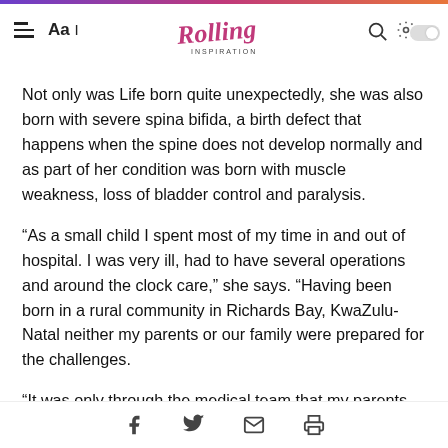Rolling Inspiration — navigation bar with hamburger menu, font size control, logo, search, and settings icons
Not only was Life born quite unexpectedly, she was also born with severe spina bifida, a birth defect that happens when the spine does not develop normally and as part of her condition was born with muscle weakness, loss of bladder control and paralysis.
“As a small child I spent most of my time in and out of hospital. I was very ill, had to have several operations and around the clock care,” she says. “Having been born in a rural community in Richards Bay, KwaZulu-Natal neither my parents or our family were prepared for the challenges.
“It was only through the medical team that my parents were m…raged to understand that…hild and that I